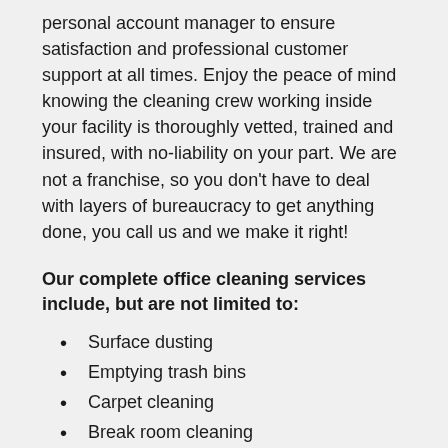personal account manager to ensure satisfaction and professional customer support at all times. Enjoy the peace of mind knowing the cleaning crew working inside your facility is thoroughly vetted, trained and insured, with no-liability on your part. We are not a franchise, so you don't have to deal with layers of bureaucracy to get anything done, you call us and we make it right!
Our complete office cleaning services include, but are not limited to:
Surface dusting
Emptying trash bins
Carpet cleaning
Break room cleaning
Floor Cleaning
Disinfecting/decontaminate overall...